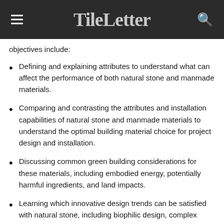TileLetter
objectives include:
Defining and explaining attributes to understand what can affect the performance of both natural stone and manmade materials.
Comparing and contrasting the attributes and installation capabilities of natural stone and manmade materials to understand the optimal building material choice for project design and installation.
Discussing common green building considerations for these materials, including embodied energy, potentially harmful ingredients, and land impacts.
Learning which innovative design trends can be satisfied with natural stone, including biophilic design, complex